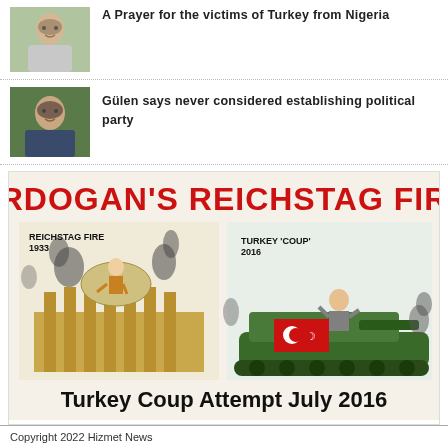[Figure (photo): Elderly man outdoors, grey hair, light jacket]
A Prayer for the victims of Turkey from Nigeria
[Figure (photo): Elderly man outdoors, grey hair, dark jacket, foliage background]
Gülen says never considered establishing political party
[Figure (illustration): Political cartoon comparing Erdogan's Turkey 2016 coup attempt to Reichstag Fire 1933. Header: ERDOGAN'S REICHSTAG FIRE in red bold text. Left panel shows Hitler cartoon atop burning Reichstag building labelled REICHSTAG FIRE 1933. Right panel shows Erdogan-like figure on a military tank with Turkish flag, labelled TURKEY 'COUP' 2016. Bottom text: Turkey Coup Attempt July 2016 in bold black.]
Copyright 2022 Hizmet News